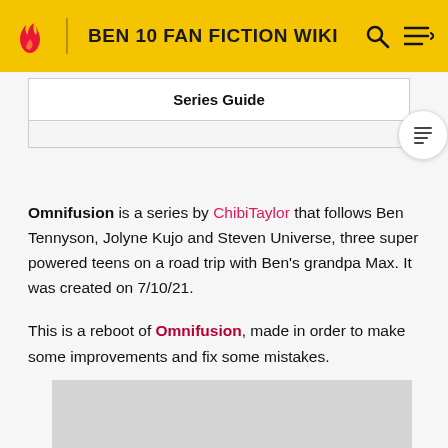BEN 10 FAN FICTION WIKI
Series Guide
Omnifusion is a series by ChibiTaylor that follows Ben Tennyson, Jolyne Kujo and Steven Universe, three super powered teens on a road trip with Ben's grandpa Max. It was created on 7/10/21.
This is a reboot of Omnifusion, made in order to make some improvements and fix some mistakes.
[Figure (photo): Gray image placeholder at the bottom of the page]